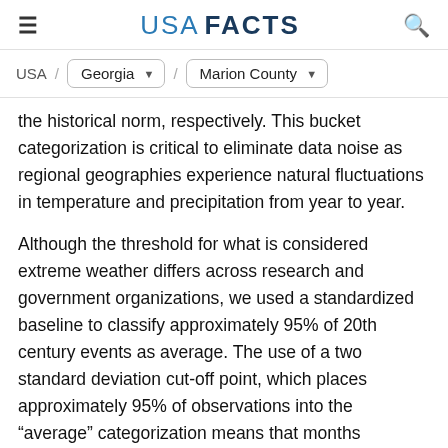USA FACTS
USA / Georgia / Marion County
the historical norm, respectively. This bucket categorization is critical to eliminate data noise as regional geographies experience natural fluctuations in temperature and precipitation from year to year.
Although the threshold for what is considered extreme weather differs across research and government organizations, we used a standardized baseline to classify approximately 95% of 20th century events as average. The use of a two standard deviation cut-off point, which places approximately 95% of observations into the “average” categorization means that months categorized as “warmer,” “cooler,”